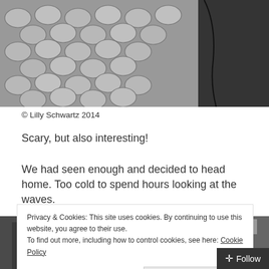[Figure (photo): Black and white photo showing cobblestone pavement and a dark silhouette of a person, cropped at top]
© Lilly Schwartz 2014
Scary, but also interesting!
We had seen enough and decided to head home. Too cold to spend hours looking at the waves.
[Figure (photo): Black and white photo showing urban street scene, partially obscured by cookie banner]
Privacy & Cookies: This site uses cookies. By continuing to use this website, you agree to their use.
To find out more, including how to control cookies, see here: Cookie Policy
Close and accept